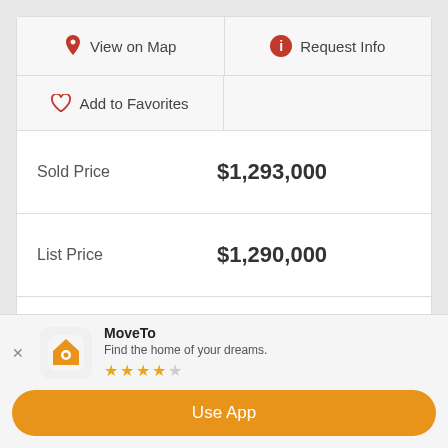View on Map
Request Info
Add to Favorites
| Field | Value |
| --- | --- |
| Sold Price | $1,293,000 |
| List Price | $1,290,000 |
| Closing Date | Jul 13, 2022 |
| Status | CLOSED |
| MLS# | 222002863 |
MoveTo — Find the home of your dreams. (4 stars) Use App